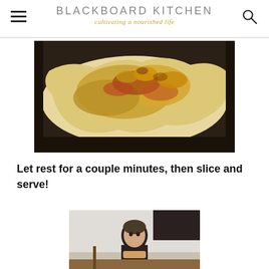BLACKBOARD KITCHEN — cultivating a nourished life
[Figure (photo): Close-up photo of a baked flatbread/pizza with golden-brown bubbly cheese and sauce on a dark baking pan]
Let rest for a couple minutes, then slice and serve!
[Figure (photo): Photo of a young man in a black shirt eating a slice of pizza, sitting at a table]